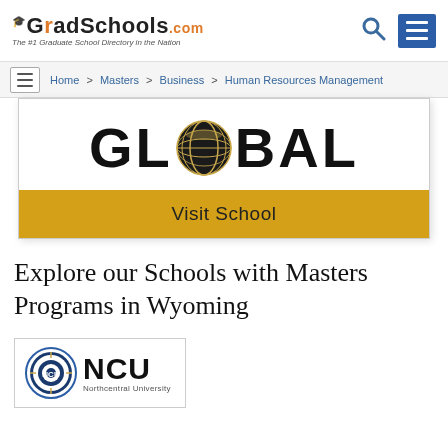GradSchools.com — The #1 Graduate School Directory in the Nation
Home > Masters > Business > Human Resources Management
[Figure (logo): GLOBAL university logo with globe icon replacing the 'O']
Visit School
Explore our Schools with Masters Programs in Wyoming
[Figure (logo): NCU Northcentral University logo with circular seal]